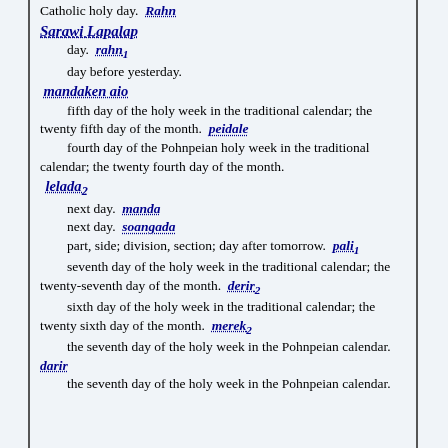Catholic holy day.  Rahn  Sarawi Lapalap
    day.  rahn1
    day before yesterday.
 mandandaken aio
    fifth day of the holy week in the traditional calendar; the twenty fifth day of the month.  peidale
    fourth day of the Pohnpeian holy week in the traditional calendar; the twenty fourth day of the month.
 lelada2
    next day.  manda
    next day.  soangada
    part, side; division, section; day after tomorrow.  pali1
    seventh day of the holy week in the traditional calendar; the twenty-seventh day of the month.  derir2
    sixth day of the holy week in the traditional calendar; the twenty sixth day of the month.  merek2
    the seventh day of the holy week in the Pohnpeian calendar.  darir
    the seventh day of the holy week in the Pohnpeian calendar.